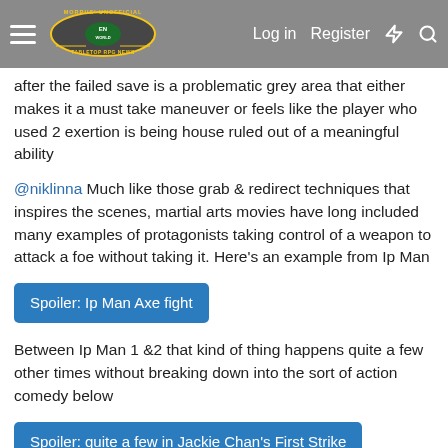Morrus' Unofficial Tabletop RPG News — Log in | Register
after the failed save is a problematic grey area that either makes it a must take maneuver or feels like the player who used 2 exertion is being house ruled out of a meaningful ability
@niklinna Much like those grab & redirect techniques that inspires the scenes, martial arts movies have long included many examples of protagonists taking control of a weapon to attack a foe without taking it. Here's an example from Ip Man
Spoiler: Ip Man Axe fight
Between Ip Man 1 &2 that kind of thing happens quite a few other times without breaking down into the sort of action comedy below
Spoiler: quite a few in Jackie Chan's First Strike